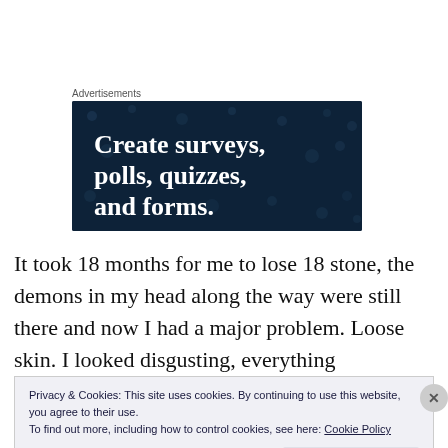Advertisements
[Figure (screenshot): Dark navy advertisement banner with white bold text reading 'Create surveys, polls, quizzes, and forms' with decorative dot pattern background]
It took 18 months for me to lose 18 stone, the demons in my head along the way were still there and now I had a major problem. Loose skin. I looked disgusting, everything
Privacy & Cookies: This site uses cookies. By continuing to use this website, you agree to their use.
To find out more, including how to control cookies, see here: Cookie Policy
Close and accept